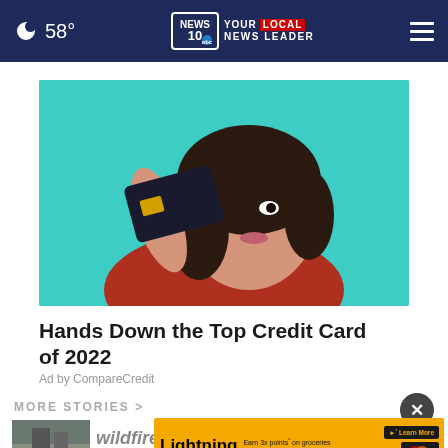58° NEWS10 YOUR LOCAL NEWS LEADER
[Figure (photo): Young woman holding a dark credit card up to her eye against a teal background, wearing a red sweater]
Hands Down the Top Credit Card of 2022
Ad by CompareCredit
MORE STORIES >
[Figure (photo): Small thumbnail image of a building or outdoor scene]
wildfire scorches ...
[Figure (infographic): SEFCU Lightning Rewards advertisement banner: Earn 3x points on groceries, 2x points for online purchases, 1x points for everything else. Learn More button. SEFCU A Division of Broadview logo.]